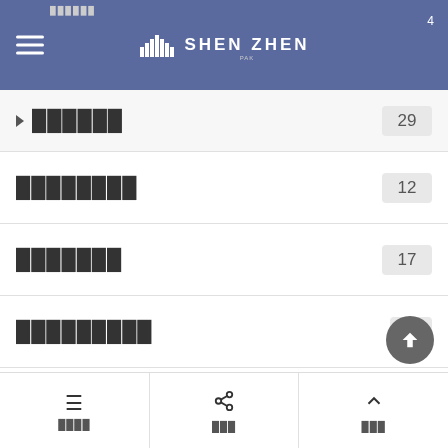SHEN ZHEN
██████ 29
████████ 12
███████ 17
█████████ 2
████ 8
███████ 67
EV██████ 11
JENESIS 13
████ / ███ / ███